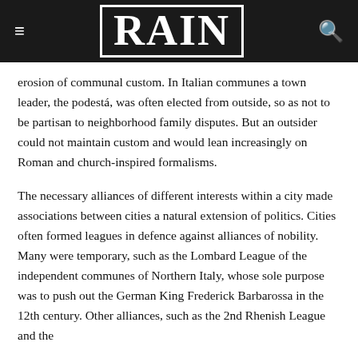≡  RAIN  🔍
erosion of communal custom. In Italian communes a town leader, the podestá, was often elected from outside, so as not to be partisan to neighborhood family disputes. But an outsider could not maintain custom and would lean increasingly on Roman and church-inspired formalisms.
The necessary alliances of different interests within a city made associations between cities a natural extension of politics. Cities often formed leagues in defence against alliances of nobility. Many were temporary, such as the Lombard League of the independent communes of Northern Italy, whose sole purpose was to push out the German King Frederick Barbarossa in the 12th century. Other alliances, such as the 2nd Rhenish League and the Swiss Confederation, aimed for more permanent and